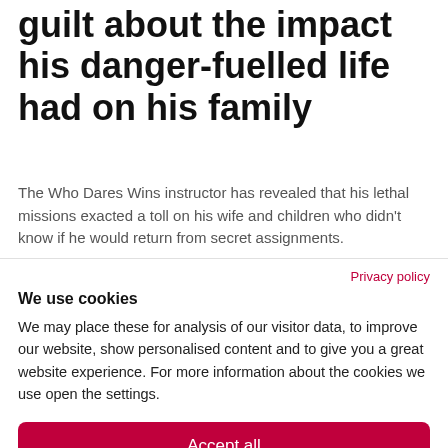guilt about the impact his danger-fuelled life had on his family
The Who Dares Wins instructor has revealed that his lethal missions exacted a toll on his wife and children who didn't know if he would return from secret assignments.
Privacy policy
We use cookies
We may place these for analysis of our visitor data, to improve our website, show personalised content and to give you a great website experience. For more information about the cookies we use open the settings.
Accept all
No, adjust
Deny